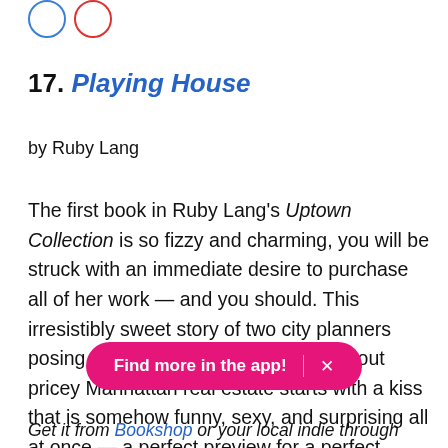[Figure (illustration): Two partial circle icons at top left — one blue outline, one red outline]
17. Playing House
by Ruby Lang
The first book in Ruby Lang's Uptown Collection is so fizzy and charming, you will be struck with an immediate desire to purchase all of her work — and you should. This irresistibly sweet story of two city planners posing as a couple so they can check out pricey Manhattan real estate starts with a kiss that is somehow funny, sexy, and surprising all at once — a perfect preview for a perfect book.
Find more in the app! ×
Get it from Bookshop or your local indie through